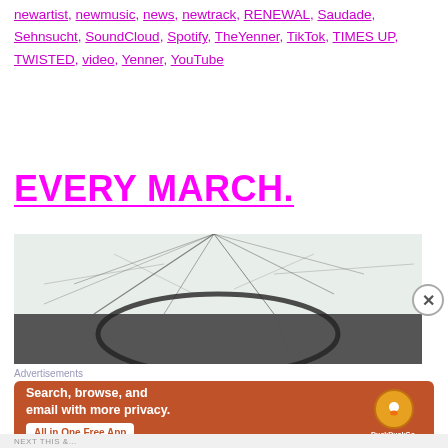newartist, newmusic, news, newtrack, RENEWAL, Saudade, Sehnsucht, SoundCloud, Spotify, TheYenner, TikTok, TIMES UP, TWISTED, video, Yenner, YouTube
EVERY MARCH.
[Figure (photo): Close-up photo of shattered/cracked glass, possibly a car windshield]
Advertisements
[Figure (infographic): DuckDuckGo advertisement: Search, browse, and email with more privacy. All in One Free App. Shows a smartphone with the DuckDuckGo logo.]